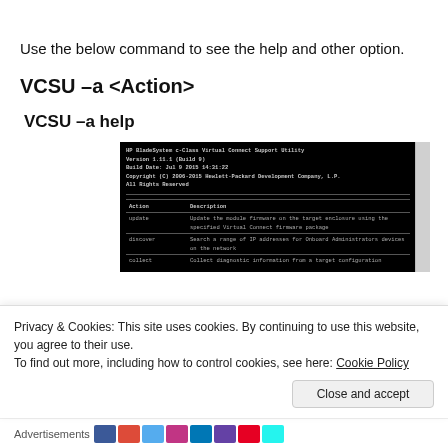Use the below command to see the help and other option.
VCSU –a <Action>
VCSU –a help
[Figure (screenshot): Terminal screenshot showing HP BladeSystem c-Class Virtual Connect Support Utility, Version 1.11.1 (Build 9), Build Date: Jul 9 2015 14:31:22, Copyright (C) 2006-2015 Hewlett-Packard Development Company, L.P., All Rights Reserved. Table showing Action and Description columns with entries: update, discover, collect.]
Privacy & Cookies: This site uses cookies. By continuing to use this website, you agree to their use. To find out more, including how to control cookies, see here: Cookie Policy
Close and accept
Advertisements